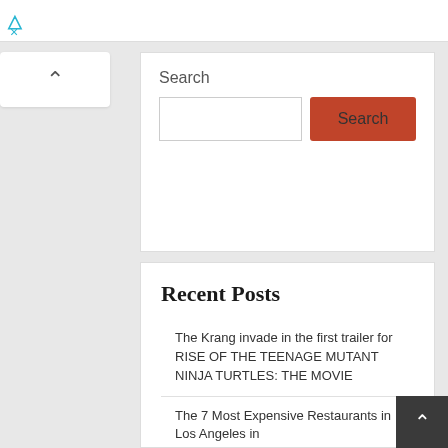× (partial browser/app header)
[Figure (screenshot): Chevron up (collapse) button at top left]
Search
[Figure (screenshot): Search input field with orange-red Search button]
Recent Posts
The Krang invade in the first trailer for RISE OF THE TEENAGE MUTANT NINJA TURTLES: THE MOVIE
The 7 Most Expensive Restaurants in Los Angeles in
[Figure (screenshot): Chevron up button at bottom right (dark background)]